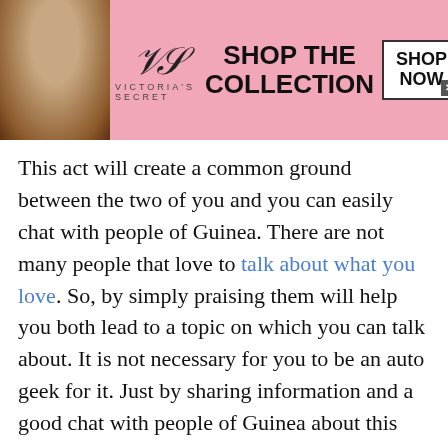[Figure (infographic): Victoria's Secret advertisement banner with model, VS logo, 'VICTORIA'S SECRET' text, 'SHOP THE COLLECTION' text, and 'SHOP NOW' button]
This act will create a common ground between the two of you and you can easily chat with people of Guinea. There are not many people that love to talk about what you love. So, by simply praising them will help you both lead to a topic on which you can talk about. It is not necessary for you to be an auto geek for it. Just by sharing information and a good chat with people of Guinea about this common topic will help people to get attracted towards you. Hence, increase your attraction towards the people
[Figure (infographic): Two bottom advertisement tiles: 'Shop New and Used Car Deals Near You' by Car Deals Near You, and 'These Pictures Was Taken Minutes Before The Beginning Of The Disaster!' by BillyNews]